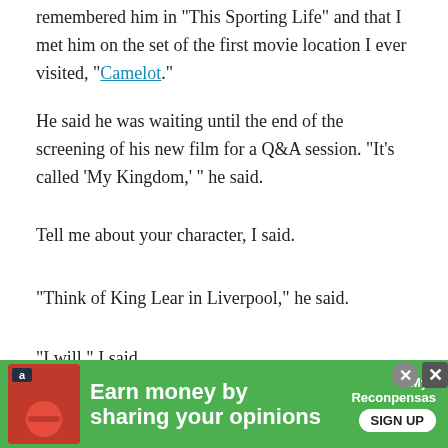remembered him in "This Sporting Life" and that I met him on the set of the first movie location I ever visited, "Camelot."
He said he was waiting until the end of the screening of his new film for a Q&A session. "It's called 'My Kingdom,' " he said.
Tell me about your character, I said.
"Think of King Lear in Liverpool," he said.
"I will," I said.
As actors make their way from one end of life to another, we learn from them on their journey. The tragedy of "Hamlet" is that he has no answers. The tragedy of "King Lear" is that there
[Figure (other): Green advertisement banner: 'Earn money by sharing your opinions' with Amazon logo, Myreconpensas logo, and SIGN UP button. Two close buttons visible.]